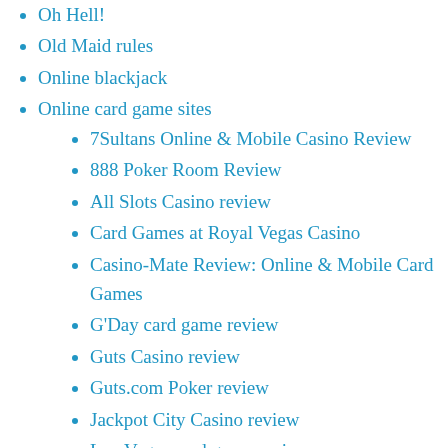Oh Hell!
Old Maid rules
Online blackjack
Online card game sites
7Sultans Online & Mobile Casino Review
888 Poker Room Review
All Slots Casino review
Card Games at Royal Vegas Casino
Casino-Mate Review: Online & Mobile Card Games
G'Day card game review
Guts Casino review
Guts.com Poker review
Jackpot City Casino review
Leo Vegas card game review
Pokerstars Review